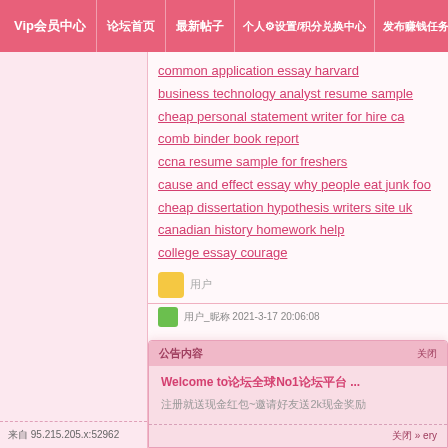Vip会员中心 | 论坛首页 | 最新帖子 | 个人设置/积分兑换中心 | 发布赚钱任务/查看我的任务♥
common application essay harvard
business technology analyst resume sample
cheap personal statement writer for hire ca
comb binder book report
ccna resume sample for freshers
cause and effect essay why people eat junk foo
cheap dissertation hypothesis writers site uk
canadian history homework help
college essay courage
来自 95.215.205.x:52962
用户 发帖时间 2021-3-17 20:06:08
公告内容 关闭
Welcome to论坛全球No1论坛平台 ...
注册就送现金红包~邀请好友送2k现金奖励
关闭 » ery